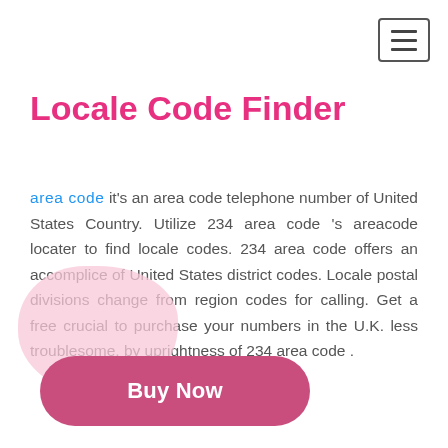[Figure (other): Hamburger menu button icon — three horizontal lines in a bordered rectangle, top-right corner]
Locale Code Finder
area code it's an area code telephone number of United States Country. Utilize 234 area code 's areacode locater to find locale codes. 234 area code offers an accomplice of United States district codes. Locale postal divisions change from region codes for calling. Get a free crucial to purchase your numbers in the U.K. less troublesome, by uprightness of 234 area code .
[Figure (illustration): Pink rounded blob shape behind the Buy Now button]
Buy Now